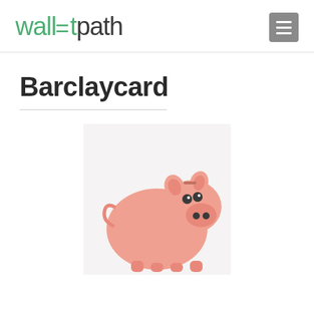walletpath
Barclaycard
[Figure (photo): A pink ceramic piggy bank photographed from the front-right angle against a light background, showing ears, eyes, snout, and coin slot on top.]